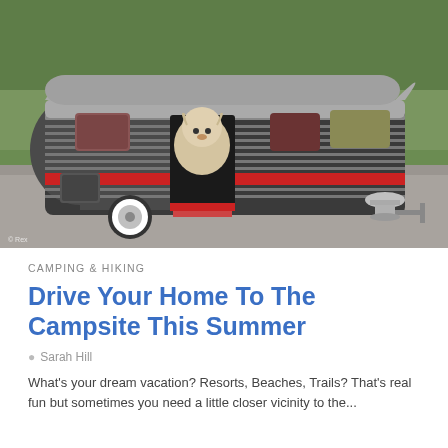[Figure (photo): A small fluffy white dog sitting inside a miniature retro-style camper trailer (dog house) outdoors on gravel, with grass in the background. The trailer has a dark body with silver stripes and red accents, white-wall tire, and a metal bowl outside.]
CAMPING & HIKING
Drive Your Home To The Campsite This Summer
Sarah Hill
What's your dream vacation? Resorts, Beaches, Trails? That's real fun but sometimes you need a little closer vicinity to the...